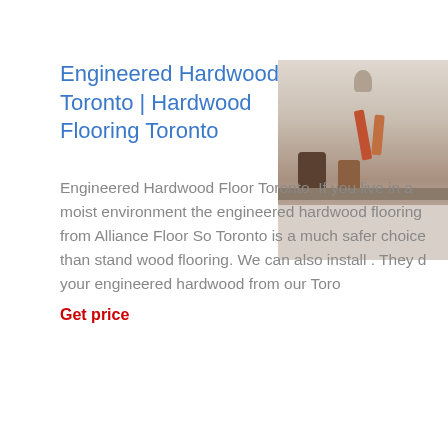Engineered Hardwood Toronto | Hardwood Flooring Toronto
[Figure (photo): Photo of a mudroom/entryway with a shelf, hanging bags and jackets, a pendant lamp, and a light hardwood floor]
Engineered Hardwood Floor Toronto. If you live in a moist environment the engineered hardwood flooring from Alliance Floor So Toronto is a much safer choice than stand wood flooring. We can also install . They your engineered hardwood from our Toro
Get price